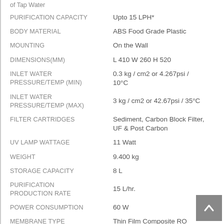| Specification | Value |
| --- | --- |
| PURIFICATION CAPACITY | Upto 15 LPH* |
| BODY MATERIAL | ABS Food Grade Plastic |
| MOUNTING | On the Wall |
| DIMENSIONS(MM) | L 410 W 260 H 520 |
| INLET WATER PRESSURE/TEMP (MIN) | 0.3 kg / cm2 or 4.267psi / 10°C |
| INLET WATER PRESSURE/TEMP (MAX) | 3 kg / cm2 or 42.67psi / 35°C |
| FILTER CARTRIDGES | Sediment, Carbon Block Filter, UF & Post Carbon |
| UV LAMP WATTAGE | 11 Watt |
| WEIGHT | 9.400 kg |
| STORAGE CAPACITY | 8 L |
| PURIFICATION PRODUCTION RATE | 15 L/hr. |
| POWER CONSUMPTION | 60 W |
| MEMBRANE TYPE | Thin Film Composite RO |
| BOOSTER PUMP VOLTAGE | 24 V DC |
| MAINS VOLTAGE | 230 V~ AC / 50 Hz, 800mA |